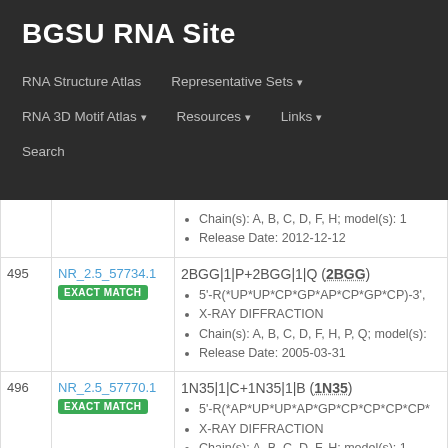BGSU RNA Site
RNA Structure Atlas | Representative Sets ▾ | RNA 3D Motif Atlas ▾ | Resources ▾ | Links ▾ | Search
| # | ID | Details |
| --- | --- | --- |
|  |  | Chain(s): A, B, C, D, F, H; model(s): 1
Release Date: 2012-12-12 |
| 495 | NR_2.5_57734.1
EXACT MATCH | 2BGG|1|P+2BGG|1|Q (2BGG)
5'-R(*UP*UP*CP*GP*AP*CP*GP*CP)-3'
X-RAY DIFFRACTION
Chain(s): A, B, C, D, F, H, P, Q; model(s):
Release Date: 2005-03-31 |
| 496 | NR_2.5_57770.1
EXACT MATCH | 1N35|1|C+1N35|1|B (1N35)
5'-R(*AP*UP*UP*AP*GP*CP*CP*CP*CP*
X-RAY DIFFRACTION
Chain(s): A, B, C, D, F, H; model(s): 1
Release Date: 2002-12-25 |